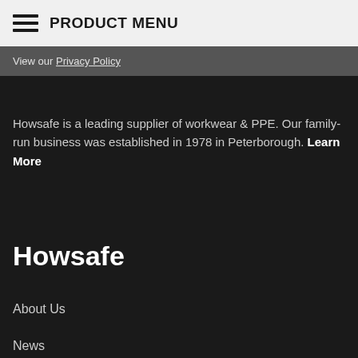PRODUCT MENU
View our Privacy Policy
Howsafe is a leading supplier of workwear & PPE. Our family-run business was established in 1978 in Peterborough. Learn More
Howsafe
About Us
News
Embroidery & Printing
Request Trade Account